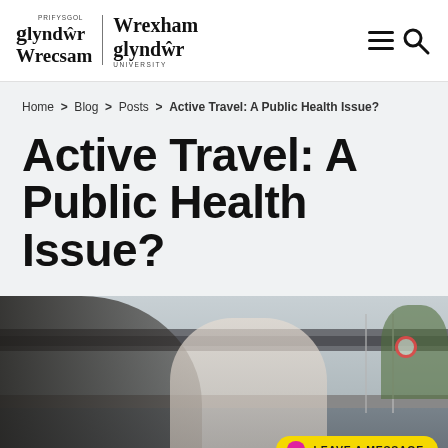[Figure (logo): Wrexham Glyndwr University bilingual logo - Welsh: Prifysgol Glyndwr Wrecsam and English: Wrexham Glyndwr University]
Home > Blog > Posts > Active Travel: A Public Health Issue?
Active Travel: A Public Health Issue?
[Figure (photo): Two people, a man and a woman, walking and laughing together outdoors in an urban environment with a bridge or elevated rail structure in the background.]
LEAVE A MESSAGE